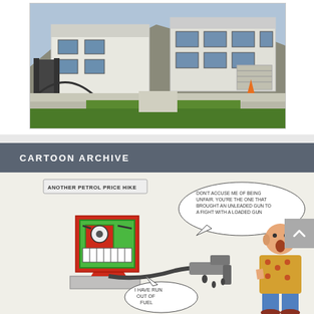[Figure (photo): Photograph of a modern white multi-story house with flat roof, large windows, black metal gate and fencing, green lawn in foreground, hillside in background.]
CARTOON ARCHIVE
[Figure (illustration): Cartoon titled 'ANOTHER PETROL PRICE HIKE'. An angry anthropomorphic red petrol pump with a gun-like nozzle faces a shocked man in a Hawaiian shirt holding a small green gun. The pump's speech bubble reads: 'DON'T ACCUSE ME OF BEING UNFAIR. YOU'RE THE ONE THAT BROUGHT AN UNLEADED GUN TO A FIGHT WITH A LOADED GUN'. Below the nozzle a speech bubble reads: 'I HAVE RUN OUT OF FUEL'.]